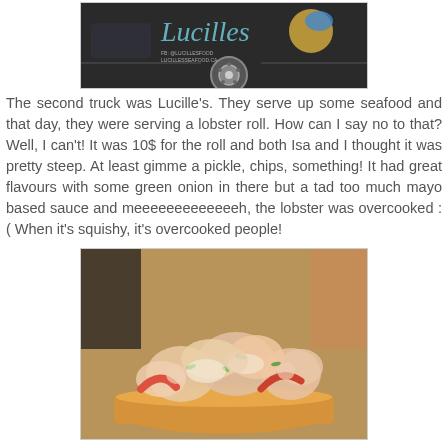[Figure (photo): Photo of Lucille's food truck, a dark/black food truck with a cursive logo and social media handles visible, showing the truck's side and wheel.]
The second truck was Lucille's. They serve up some seafood and that day, they were serving a lobster roll. How can I say no to that? Well, I can't! It was 10$ for the roll and both Isa and I thought it was pretty steep. At least gimme a pickle, chips, something! It had great flavours with some green onion in there but a tad too much mayo based sauce and meeeeeeeeeeeeeh, the lobster was overcooked :( When it's squishy, it's overcooked people!
[Figure (photo): Close-up photo of a lobster roll showing lobster meat in a mayo-based sauce with visible green onion pieces, served on a hot dog bun.]